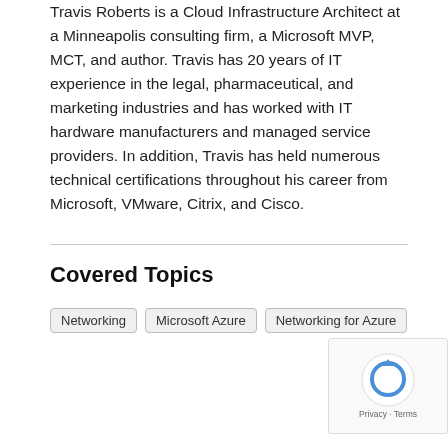Travis Roberts is a Cloud Infrastructure Architect at a Minneapolis consulting firm, a Microsoft MVP, MCT, and author. Travis has 20 years of IT experience in the legal, pharmaceutical, and marketing industries and has worked with IT hardware manufacturers and managed service providers. In addition, Travis has held numerous technical certifications throughout his career from Microsoft, VMware, Citrix, and Cisco.
Covered Topics
Networking
Microsoft Azure
Networking for Azure
[Figure (other): reCAPTCHA widget with Google logo and Privacy - Terms text]